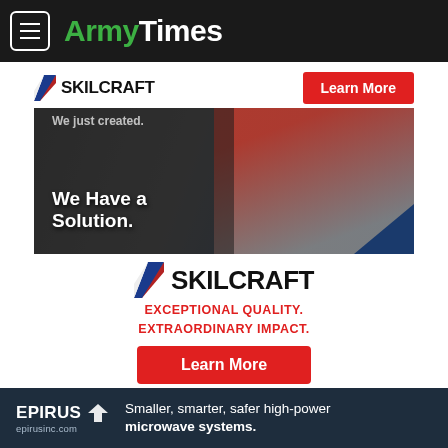ArmyTimes
[Figure (advertisement): SKILCRAFT advertisement banner with Learn More button]
[Figure (photo): Woman in red jacket smiling, holding envelope, with text 'We Have a Solution.' overlaid]
[Figure (advertisement): SKILCRAFT logo with tagline 'EXCEPTIONAL QUALITY. EXTRAORDINARY IMPACT.' and Learn More button]
“Just because they’re aligned to Africa or Europe, doesn’t mean they aren’t going to go to Afghanistan,”
[Figure (advertisement): Epirus advertisement: Smaller, smarter, safer high-power microwave systems. epirusinc.com]